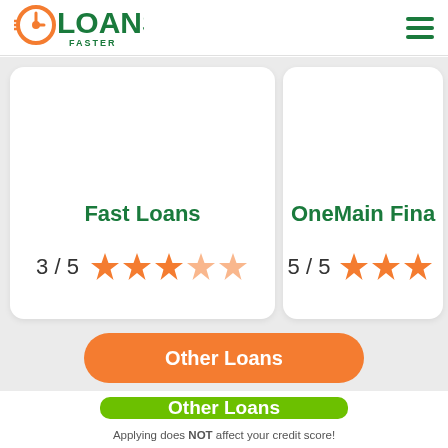[Figure (logo): Loans Faster logo — green bold text with orange clock icon]
[Figure (infographic): Hamburger menu icon — three horizontal green lines]
Fast Loans
3 / 5  ★★★★★
OneMain Fina...
5 / 5  ★★★★
Other Loans
Other Loans
Applying does NOT affect your credit score!
No credit check to apply.